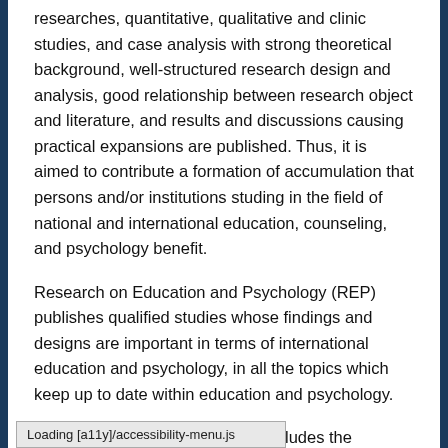researches, quantitative, qualitative and clinic studies, and case analysis with strong theoretical background, well-structured research design and analysis, good relationship between research object and literature, and results and discussions causing practical expansions are published. Thus, it is aimed to contribute a formation of accumulation that persons and/or institutions studing in the field of national and international education, counseling, and psychology benefit.
Research on Education and Psychology (REP) publishes qualified studies whose findings and designs are important in terms of international education and psychology, in all the topics which keep up to date within education and psychology.
The coverage of REP basically includes the following topics:
Loading [a11y]/accessibility-menu.js